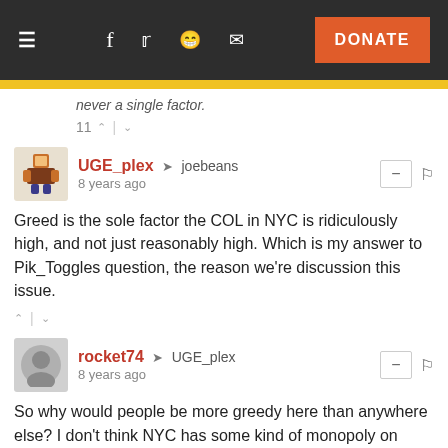≡  f  🐦  reddit  ✉  DONATE
never a single factor.
11 ∧ | ∨
UGE_plex → joebeans
8 years ago
Greed is the sole factor the COL in NYC is ridiculously high, and not just reasonably high. Which is my answer to Pik_Toggles question, the reason we're discussion this issue.
∧ | ∨
rocket74 → UGE_plex
8 years ago
So why would people be more greedy here than anywhere else? I don't think NYC has some kind of monopoly on greed.
10 ∧ | ∨
UGE_plex → rocket74